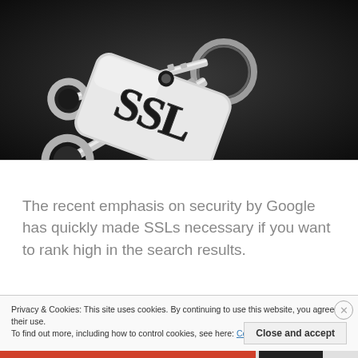[Figure (photo): A close-up photo of metal keys on a keyring with a silver tag/fob engraved with the text 'SSL' in large black serif letters, on a dark background.]
The recent emphasis on security by Google has quickly made SSLs necessary if you want to rank high in the search results.
Privacy & Cookies: This site uses cookies. By continuing to use this website, you agree to their use.
To find out more, including how to control cookies, see here: Cookie Policy